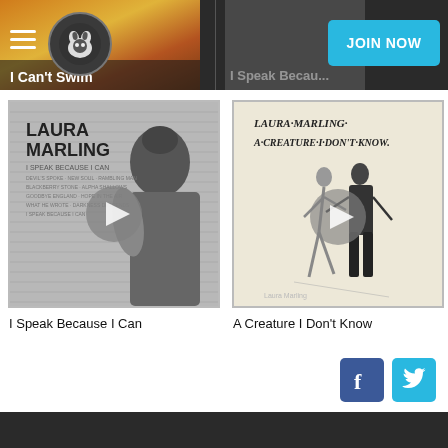I Can't Swim | I Speak Because... | JOIN NOW
[Figure (screenshot): Album art thumbnail for 'I Speak Because I Can' by Laura Marling - black and white portrait of woman with play button overlay]
I Speak Because I Can
[Figure (screenshot): Album art thumbnail for 'A Creature I Don't Know' by Laura Marling - sketch illustration of two dancing figures with play button overlay]
A Creature I Don't Know
[Figure (logo): Facebook and Twitter social media icons]